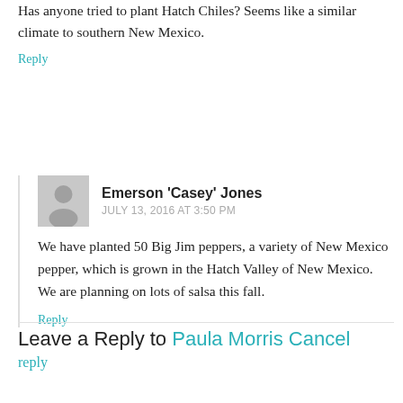Has anyone tried to plant Hatch Chiles? Seems like a similar climate to southern New Mexico.
Reply
Emerson 'Casey' Jones
JULY 13, 2016 AT 3:50 PM
We have planted 50 Big Jim peppers, a variety of New Mexico pepper, which is grown in the Hatch Valley of New Mexico. We are planning on lots of salsa this fall.
Reply
Leave a Reply to Paula Morris Cancel reply